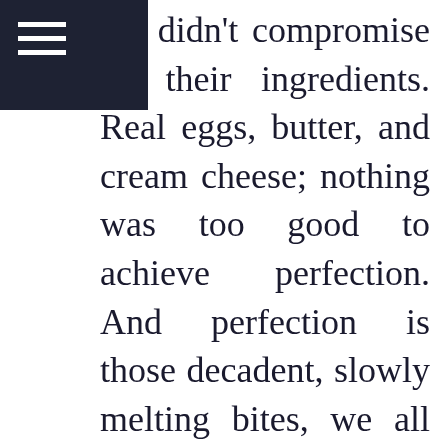hat didn't compromise on their ingredients. Real eggs, butter, and cream cheese; nothing was too good to achieve perfection. And perfection is those decadent, slowly melting bites, we all know and love.
Flash forward and the Nothing Bundt Cakes brand has grown nationwide. Built on Dena and Debbie's vision, each bakery still has the warmth and nostalgia of its